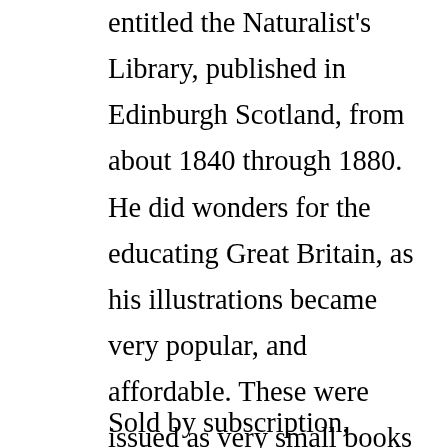entitled the Naturalist's Library, published in Edinburgh Scotland, from about 1840 through 1880. He did wonders for the educating Great Britain, as his illustrations became very popular, and affordable. These were issued as very small books with lots of information with details and illustrations. This was the rage of 19th century Europe.
Sold by subscription, published and